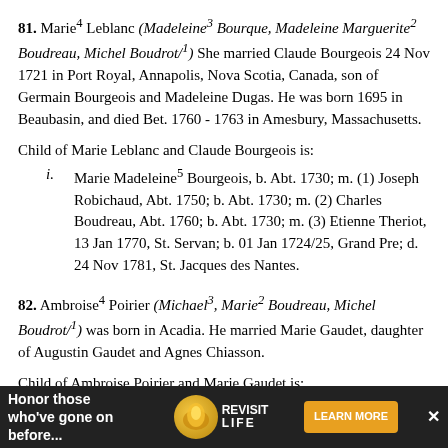81. Marie⁴ Leblanc (Madeleine³ Bourque, Madeleine Marguerite² Boudreau, Michel Boudrot/¹) She married Claude Bourgeois 24 Nov 1721 in Port Royal, Annapolis, Nova Scotia, Canada, son of Germain Bourgeois and Madeleine Dugas. He was born 1695 in Beaubasin, and died Bet. 1760 - 1763 in Amesbury, Massachusetts.
Child of Marie Leblanc and Claude Bourgeois is:
i. Marie Madeleine⁵ Bourgeois, b. Abt. 1730; m. (1) Joseph Robichaud, Abt. 1750; b. Abt. 1730; m. (2) Charles Boudreau, Abt. 1760; b. Abt. 1730; m. (3) Etienne Theriot, 13 Jan 1770, St. Servan; b. 01 Jan 1724/25, Grand Pre; d. 24 Nov 1781, St. Jacques des Nantes.
82. Ambroise⁴ Poirier (Michael³, Marie² Boudreau, Michel Boudrot/¹) was born in Acadia. He married Marie Gaudet, daughter of Augustin Gaudet and Agnes Chiasson.
Child of Ambroise Poirier and Marie Gaudet is:
129. i. Pierre⁵ Poirier, b. 13 Jan 1731/32...
[Figure (other): Advertisement banner: 'Honor those who've gone on before...' with Revisit Life logo and 'LEARN MORE' button]